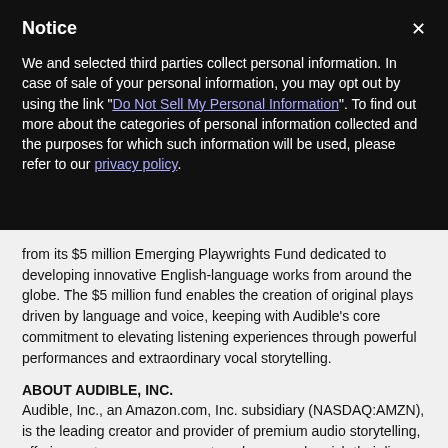Notice
We and selected third parties collect personal information. In case of sale of your personal information, you may opt out by using the link "Do Not Sell My Personal Information". To find out more about the categories of personal information collected and the purposes for which such information will be used, please refer to our privacy policy.
from its $5 million Emerging Playwrights Fund dedicated to developing innovative English-language works from around the globe. The $5 million fund enables the creation of original plays driven by language and voice, keeping with Audible's core commitment to elevating listening experiences through powerful performances and extraordinary vocal storytelling.
ABOUT AUDIBLE, INC.
Audible, Inc., an Amazon.com, Inc. subsidiary (NASDAQ:AMZN), is the leading creator and provider of premium audio storytelling, offering customers a new way to enhance and enrich their lives every day. Audible